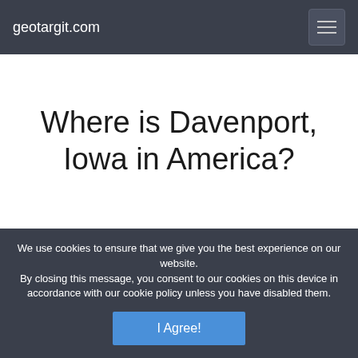geotargit.com
Where is Davenport, Iowa in America?
We use cookies to ensure that we give you the best experience on our website. By closing this message, you consent to our cookies on this device in accordance with our cookie policy unless you have disabled them.
I Agree!